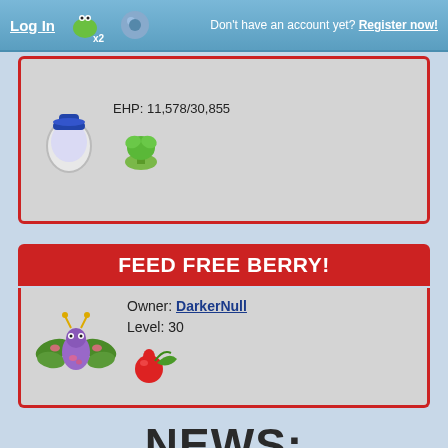Log In   Don't have an account yet? Register now!
EHP: 11,578/30,855
FEED FREE BERRY!
Owner: DarkerNull
Level: 30
NEWS:
05/Aug/22 00:00   News written by Riako   276